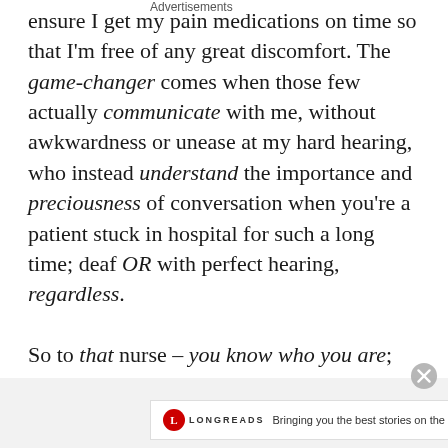ensure I get my pain medications on time so that I'm free of any great discomfort. The game-changer comes when those few actually communicate with me, without awkwardness or unease at my hard hearing, who instead understand the importance and preciousness of conversation when you're a patient stuck in hospital for such a long time; deaf OR with perfect hearing, regardless.

So to that nurse – you know who you are; upon
Advertisements
[Figure (screenshot): Longreads advertisement banner: circular red logo with 'L', text 'LONGREADS', tagline 'Bringing you the best stories on the web since 2009.']